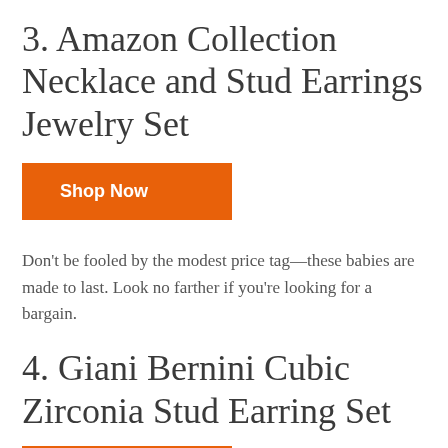3. Amazon Collection Necklace and Stud Earrings Jewelry Set
Shop Now
Don't be fooled by the modest price tag—these babies are made to last. Look no farther if you're looking for a bargain.
4. Giani Bernini Cubic Zirconia Stud Earring Set
Shop Now